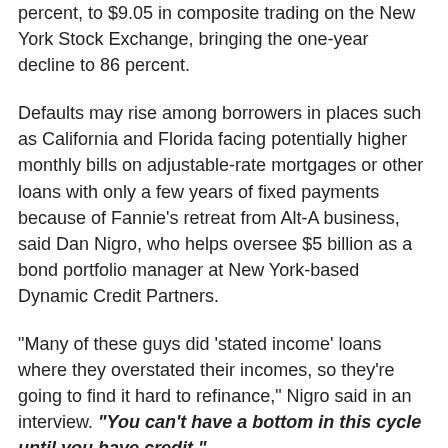percent, to $9.05 in composite trading on the New York Stock Exchange, bringing the one-year decline to 86 percent.
Defaults may rise among borrowers in places such as California and Florida facing potentially higher monthly bills on adjustable-rate mortgages or other loans with only a few years of fixed payments because of Fannie's retreat from Alt-A business, said Dan Nigro, who helps oversee $5 billion as a bond portfolio manager at New York-based Dynamic Credit Partners.
"Many of these guys did 'stated income' loans where they overstated their incomes, so they're going to find it hard to refinance," Nigro said in an interview. "You can't have a bottom in this cycle until you have credit."
Fannie owned or guaranteed $3 trillion in residential mortgages as of June 30. Changes over recent months have cut the company's Alt-A